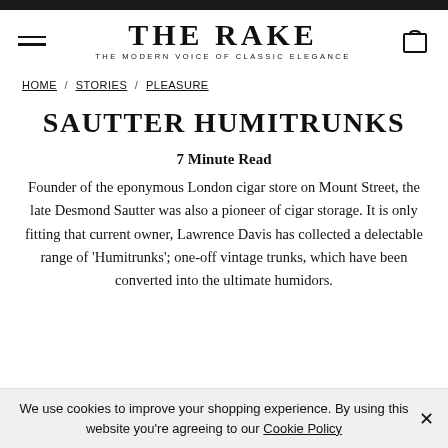THE RAKE — THE MODERN VOICE OF CLASSIC ELEGANCE
HOME / STORIES / PLEASURE
SAUTTER HUMITRUNKS
7 Minute Read
Founder of the eponymous London cigar store on Mount Street, the late Desmond Sautter was also a pioneer of cigar storage. It is only fitting that current owner, Lawrence Davis has collected a delectable range of 'Humitrunks'; one-off vintage trunks, which have been converted into the ultimate humidors.
We use cookies to improve your shopping experience. By using this website you're agreeing to our Cookie Policy